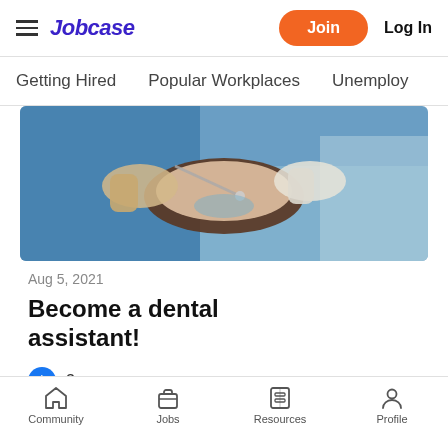Jobcase  Join  Log In
Getting Hired   Popular Workplaces   Unemploy
[Figure (photo): Dental procedure: gloved hands working in a patient's open mouth, blue surgical draping]
Aug 5, 2021
Become a dental assistant!
👍 3
Community   Jobs   Resources   Profile